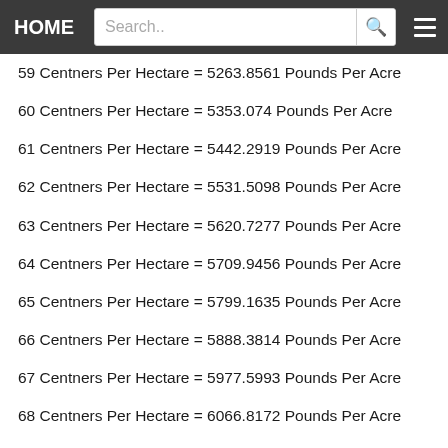HOME | Search..
59 Centners Per Hectare = 5263.8561 Pounds Per Acre
60 Centners Per Hectare = 5353.074 Pounds Per Acre
61 Centners Per Hectare = 5442.2919 Pounds Per Acre
62 Centners Per Hectare = 5531.5098 Pounds Per Acre
63 Centners Per Hectare = 5620.7277 Pounds Per Acre
64 Centners Per Hectare = 5709.9456 Pounds Per Acre
65 Centners Per Hectare = 5799.1635 Pounds Per Acre
66 Centners Per Hectare = 5888.3814 Pounds Per Acre
67 Centners Per Hectare = 5977.5993 Pounds Per Acre
68 Centners Per Hectare = 6066.8172 Pounds Per Acre
69 Centners Per Hectare = 6156.0351 Pounds Per Acre